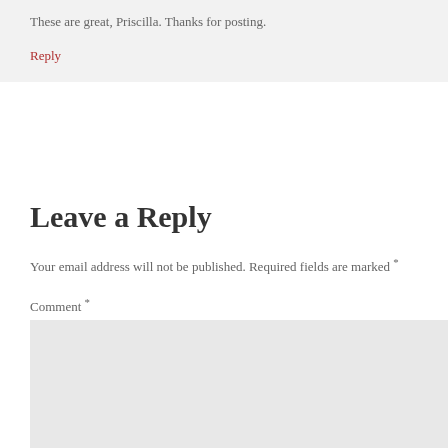These are great, Priscilla. Thanks for posting.
Reply
Leave a Reply
Your email address will not be published. Required fields are marked *
Comment *